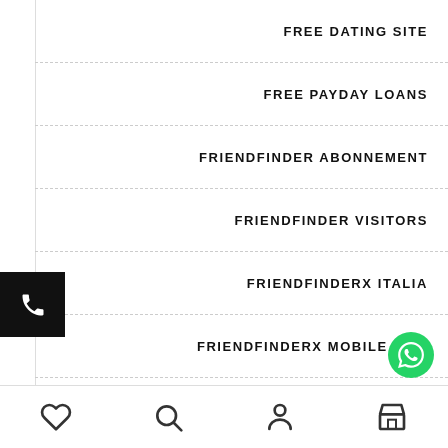FREE DATING SITE
FREE PAYDAY LOANS
FRIENDFINDER ABONNEMENT
FRIENDFINDER VISITORS
FRIENDFINDERX ITALIA
FRIENDFINDERX MOBILE SITE
FRUZO REVIEW
FUCK MARRY KILL REVIEWS